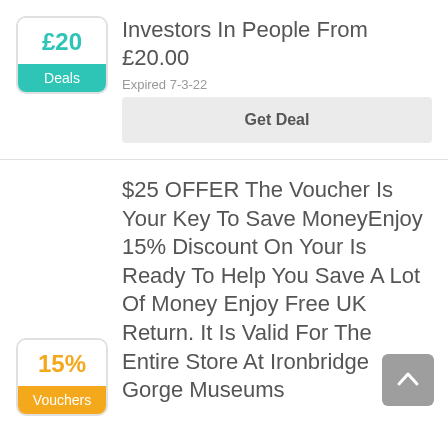Investors In People From £20.00
Expired 7-3-22
Get Deal
$25 OFFER The Voucher Is Your Key To Save MoneyEnjoy 15% Discount On Your Is Ready To Help You Save A Lot Of Money Enjoy Free UK Return. It Is Valid For The Entire Store At Ironbridge Gorge Museums